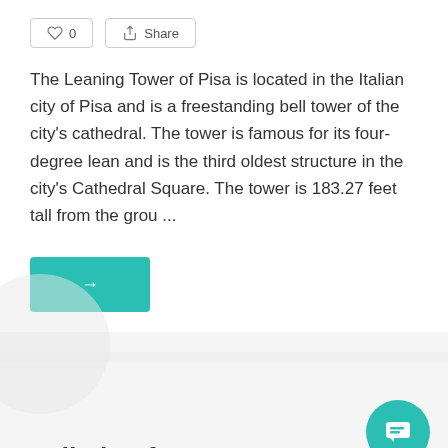[Figure (other): Like (heart) button showing 0 likes and a Share button with share icon]
The Leaning Tower of Pisa is located in the Italian city of Pisa and is a freestanding bell tower of the city's cathedral. The tower is famous for its four-degree lean and is the third oldest structure in the city's Cathedral Square. The tower is 183.27 feet tall from the grou ...
[Figure (other): Teal/green arrow button pointing right (→) — a 'read more' or navigation button]
Fall Tips for Homeowners